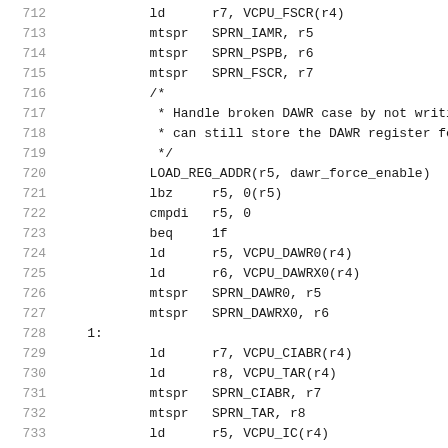712  ld      r7, VCPU_FSCR(r4)
713  mtspr   SPRN_IAMR, r5
714  mtspr   SPRN_PSPB, r6
715  mtspr   SPRN_FSCR, r7
716  /*
717   * Handle broken DAWR case by not writi
718   * can still store the DAWR register fo
719   */
720  LOAD_REG_ADDR(r5, dawr_force_enable)
721  lbz     r5, 0(r5)
722  cmpdi   r5, 0
723  beq     1f
724  ld      r5, VCPU_DAWR0(r4)
725  ld      r6, VCPU_DAWRX0(r4)
726  mtspr   SPRN_DAWR0, r5
727  mtspr   SPRN_DAWRX0, r6
728 1:
729  ld      r7, VCPU_CIABR(r4)
730  ld      r8, VCPU_TAR(r4)
731  mtspr   SPRN_CIABR, r7
732  mtspr   SPRN_TAR, r8
733  ld      r5, VCPU_IC(r4)